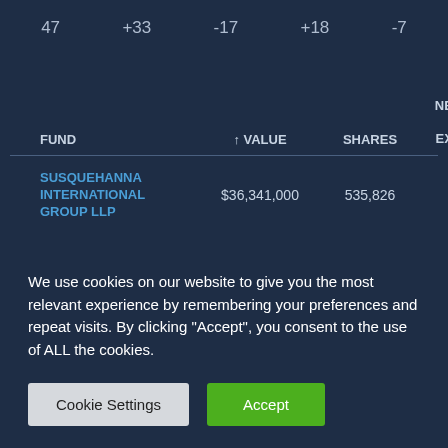47   +33   -17   +18   -7
| FUND | ↑ VALUE | SHARES | NEW / EXIT | P( |
| --- | --- | --- | --- | --- |
| SUSQUEHANNA INTERNATIONAL GROUP LLP | $36,341,000 | 535,826 |  |  |
We use cookies on our website to give you the most relevant experience by remembering your preferences and repeat visits. By clicking "Accept", you consent to the use of ALL the cookies.
Cookie Settings   Accept